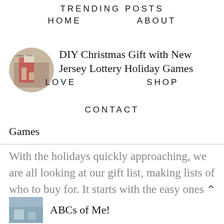TRENDING POSTS
HOME    ABOUT
LOVE    SHOP    CONTACT
DIY Christmas Gift with New Jersey Lottery Holiday Games
With the holidays quickly approaching, we are all looking at our gift list, making lists of who to buy for. It starts with the easy ones o...
ABCs of Me!